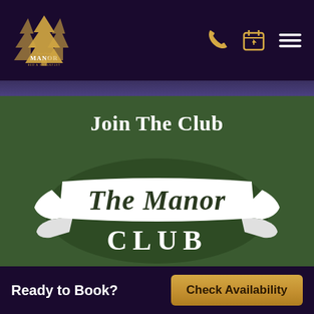[Figure (logo): Twin Pines Manor Bed & Breakfast logo — two pine trees over text in white on dark purple background]
Join The Club
[Figure (illustration): The Manor Club ribbon/banner logo with white decorative banner showing 'The Manor CLUB' text on dark green background with pine trees]
Sign up for updates and special offers
Get Special Offers ▶
Ready to Book?
Check Availability